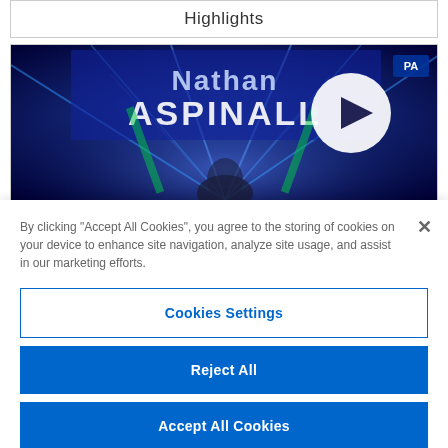Highlights
[Figure (screenshot): Video thumbnail showing Nathan Aspinall darts player entrance with blue laser lights and a play button overlay]
By clicking “Accept All Cookies”, you agree to the storing of cookies on your device to enhance site navigation, analyze site usage, and assist in our marketing efforts.
Cookies Settings
Reject All
Accept All Cookies